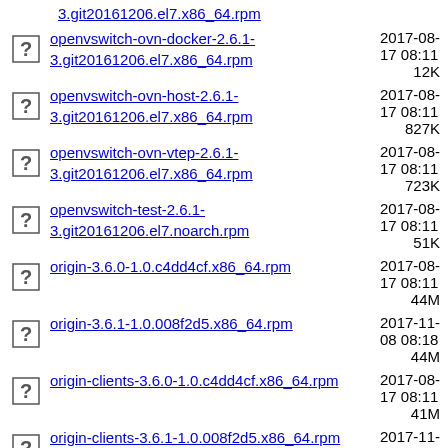3.git20161206.el7.x86_64.rpm  2017-08-17 08:11  (truncated top)
openvswitch-ovn-docker-2.6.1-3.git20161206.el7.x86_64.rpm  2017-08-17 08:11  12K
openvswitch-ovn-host-2.6.1-3.git20161206.el7.x86_64.rpm  2017-08-17 08:11  827K
openvswitch-ovn-vtep-2.6.1-3.git20161206.el7.x86_64.rpm  2017-08-17 08:11  723K
openvswitch-test-2.6.1-3.git20161206.el7.noarch.rpm  2017-08-17 08:11  51K
origin-3.6.0-1.0.c4dd4cf.x86_64.rpm  2017-08-17 08:11  44M
origin-3.6.1-1.0.008f2d5.x86_64.rpm  2017-11-08 08:18  44M
origin-clients-3.6.0-1.0.c4dd4cf.x86_64.rpm  2017-08-17 08:11  41M
origin-clients-3.6.1-1.0.008f2d5.x86_64.rpm  2017-11-08 08:18  41M
origin-clients-redistributable-3.6.0-1.0.c4dd4cf.x86_64.rpm  2017-08-17 08:11  78M
origin-clients-redistributable-3.6.1-1.0.008f2d5.x86_64.rpm  2017-11-08 08:18  78M
origin-cluster-capacity-3.6.0-1.0.c4dd4cf.x86_64.rpm  2017-08-17 08:11  10M